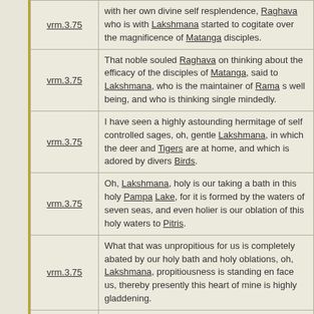| Reference | Text |
| --- | --- |
| vrm.3.75 | with her own divine self resplendence, Raghava who is with Lakshmana started to cogitate over the magnificence of Matanga disciples. |
| vrm.3.75 | That noble souled Raghava on thinking about the efficacy of the disciples of Matanga, said to Lakshmana, who is the maintainer of Rama s well being, and who is thinking single mindedly. |
| vrm.3.75 | I have seen a highly astounding hermitage of self controlled sages, oh, gentle Lakshmana, in which the deer and Tigers are at home, and which is adored by divers Birds. |
| vrm.3.75 | Oh, Lakshmana, holy is our taking a bath in this holy Pampa Lake, for it is formed by the waters of seven seas, and even holier is our oblation of this holy waters to Pitris. |
| vrm.3.75 | What that was unpropitious for us is completely abated by our holy bath and holy oblations, oh, Lakshmana, propitiousness is standing en face us, thereby presently this heart of mine is highly gladdening. |
| vrm.3.75 | a Thereby, where Mountain |